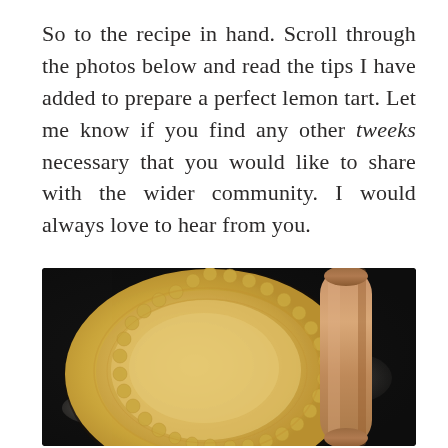So to the recipe in hand. Scroll through the photos below and read the tips I have added to prepare a perfect lemon tart. Let me know if you find any other tweeks necessary that you would like to share with the wider community. I would always love to hear from you.
[Figure (photo): Overhead photo of an unbaked lemon tart pastry shell with crimped scalloped edges in a tart pan, dusted with flour on a dark surface, with a wooden rolling pin visible to the right.]